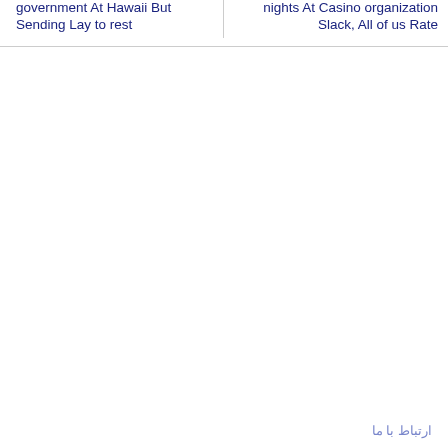government At Hawaii But
nights At Casino organization
Sending Lay to rest
Slack, All of us Rate
ارتباط با ما